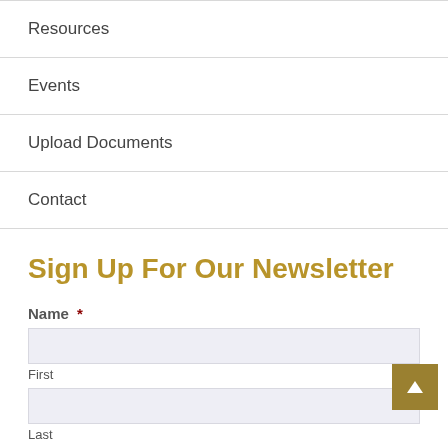Resources
Events
Upload Documents
Contact
Sign Up For Our Newsletter
Name *
First
Last
Email *